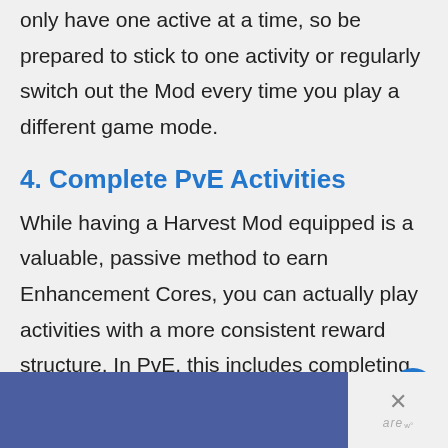only have one active at a time, so be prepared to stick to one activity or regularly switch out the Mod every time you play a different game mode.
4. Complete PvE Activities
While having a Harvest Mod equipped is a valuable, passive method to earn Enhancement Cores, you can actually play activities with a more consistent reward structure. In PvE, this includes completing higher-difficulty Empire Hunts, Legendary, or Master Lost sectors, or